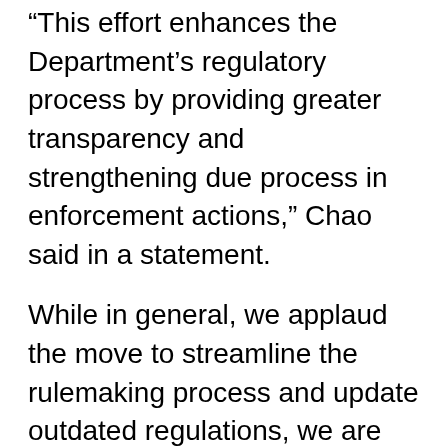“This effort enhances the Department’s regulatory process by providing greater transparency and strengthening due process in enforcement actions,” Chao said in a statement.
While in general, we applaud the move to streamline the rulemaking process and update outdated regulations, we are also wary of the impact this policy change may have on regulations related to autonomous vehicles. Currently, the government has been slow to roll out rules surrounding the deployment of autonomous vehicles, and this step by the Secretary may further curtail regulations surrounding so-called “”